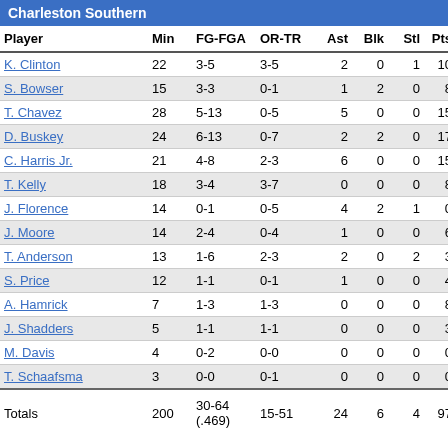Charleston Southern
| Player | Min | FG-FGA | OR-TR | Ast | Blk | Stl | Pts |
| --- | --- | --- | --- | --- | --- | --- | --- |
| K. Clinton | 22 | 3-5 | 3-5 | 2 | 0 | 1 | 10 |
| S. Bowser | 15 | 3-3 | 0-1 | 1 | 2 | 0 | 8 |
| T. Chavez | 28 | 5-13 | 0-5 | 5 | 0 | 0 | 15 |
| D. Buskey | 24 | 6-13 | 0-7 | 2 | 2 | 0 | 17 |
| C. Harris Jr. | 21 | 4-8 | 2-3 | 6 | 0 | 0 | 15 |
| T. Kelly | 18 | 3-4 | 3-7 | 0 | 0 | 0 | 8 |
| J. Florence | 14 | 0-1 | 0-5 | 4 | 2 | 1 | 0 |
| J. Moore | 14 | 2-4 | 0-4 | 1 | 0 | 0 | 6 |
| T. Anderson | 13 | 1-6 | 2-3 | 2 | 0 | 2 | 3 |
| S. Price | 12 | 1-1 | 0-1 | 1 | 0 | 0 | 4 |
| A. Hamrick | 7 | 1-3 | 1-3 | 0 | 0 | 0 | 8 |
| J. Shadders | 5 | 1-1 | 1-1 | 0 | 0 | 0 | 3 |
| M. Davis | 4 | 0-2 | 0-0 | 0 | 0 | 0 | 0 |
| T. Schaafsma | 3 | 0-0 | 0-1 | 0 | 0 | 0 | 0 |
| Totals | 200 | 30-64 (.469) | 15-51 | 24 | 6 | 4 | 97 |